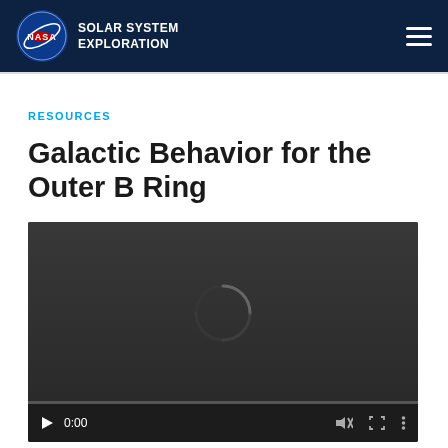NASA Solar System Exploration
RESOURCES
Galactic Behavior for the Outer B Ring
[Figure (screenshot): Embedded video player with dark background showing a loading spinner, play button, time display 0:00, mute icon, fullscreen icon, and more options icon]